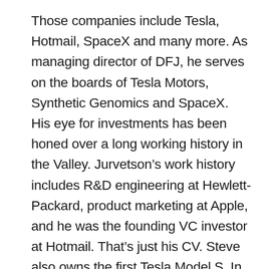Those companies include Tesla, Hotmail, SpaceX and many more. As managing director of DFJ, he serves on the boards of Tesla Motors, Synthetic Genomics and SpaceX. His eye for investments has been honed over a long working history in the Valley. Jurvetson's work history includes R&D engineering at Hewlett-Packard, product marketing at Apple, and he was the founding VC investor at Hotmail. That's just his CV. Steve also owns the first Tesla Model S. In 2012, Deloitte named him Silicon Valley Venture Capitalist of the Year. And he's among the brightest and most energetic people you'll ever hear from. When he sat down with me in San Francisco, we talked about everything from the dark days of Tesla in 2008, to the future of machine learning, to why he's never sold a